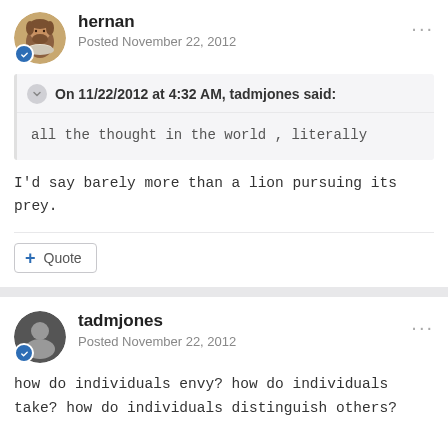hernan
Posted November 22, 2012
On 11/22/2012 at 4:32 AM, tadmjones said:
all the thought in the world , literally
I'd say barely more than a lion pursuing its prey.
+ Quote
tadmjones
Posted November 22, 2012
how do individuals envy? how do individuals take? how do individuals distinguish others?